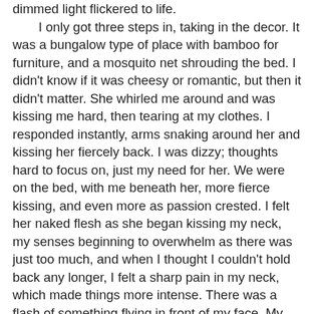dimmed light flickered to life.
	I only got three steps in, taking in the decor. It was a bungalow type of place with bamboo for furniture, and a mosquito net shrouding the bed. I didn't know if it was cheesy or romantic, but then it didn't matter. She whirled me around and was kissing me hard, then tearing at my clothes. I responded instantly, arms snaking around her and kissing her fiercely back. I was dizzy; thoughts hard to focus on, just my need for her. We were on the bed, with me beneath her, more fierce kissing, and even more as passion crested. I felt her naked flesh as she began kissing my neck, my senses beginning to overwhelm as there was just too much, and when I thought I couldn't hold back any longer, I felt a sharp pain in my neck, which made things more intense. There was a flash of something flying in front of my face. My mouth was open, did I scream? Was I screaming or was it something else? Was my mouth just hanging open in shock. Oh, God she felt good. I felt something hot and wet on me, and I knew she was drinking my blood. I didn't care. All I knew was I wanted her to keep going. I'd never felt anything like this.
	I began to tire, and weaken. I wanted her to keep going, but I needed her to stop, I wanted to look, but to stay lost